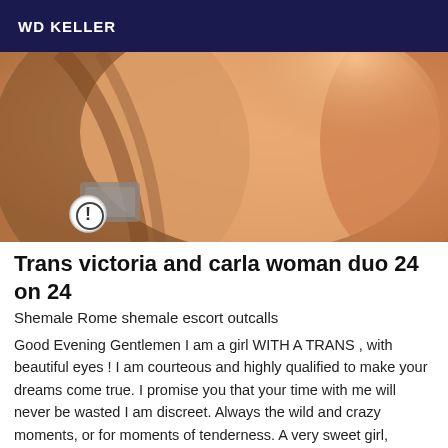WD KELLER
[Figure (photo): Close-up photo of skin tones in warm orange and peach colors with a small warning icon badge visible in the bottom-left corner]
Trans victoria and carla woman duo 24 on 24
Shemale Rome shemale escort outcalls
Good Evening Gentlemen I am a girl WITH A TRANS , with beautiful eyes ! I am courteous and highly qualified to make your dreams come true. I promise you that your time with me will never be wasted I am discreet. Always the wild and crazy moments, or for moments of tenderness. A very sweet girl, delicate, refined and very